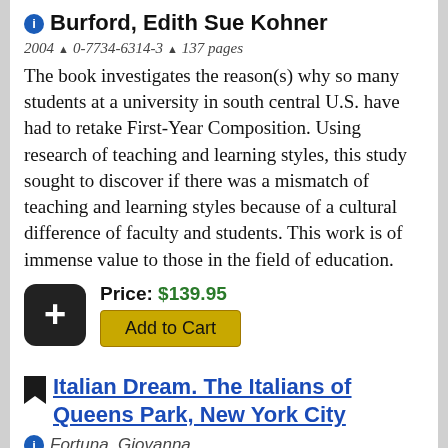Burford, Edith Sue Kohner
2004 ▲ 0-7734-6314-3 ▲ 137 pages
The book investigates the reason(s) why so many students at a university in south central U.S. have had to retake First-Year Composition. Using research of teaching and learning styles, this study sought to discover if there was a mismatch of teaching and learning styles because of a cultural difference of faculty and students. This work is of immense value to those in the field of education.
Price: $139.95
Add to Cart
Italian Dream. The Italians of Queens Park, New York City
Fortuna, Giovanna